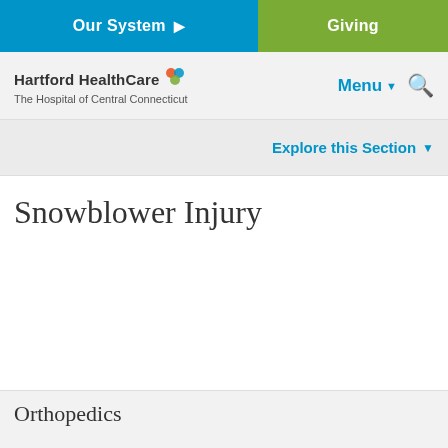Our System | Giving
Hartford HealthCare - The Hospital of Central Connecticut | Menu | Search
Explore this Section
Snowblower Injury
Orthopedics